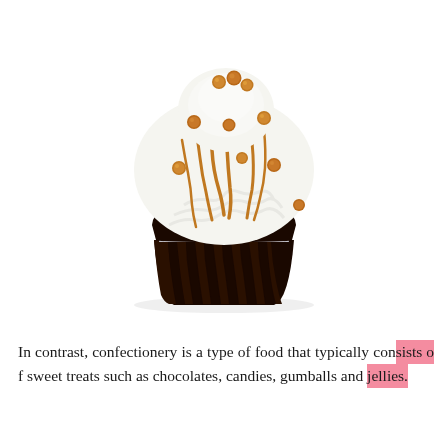[Figure (photo): A chocolate cupcake with white frosting, drizzled with caramel sauce and decorated with small caramel-colored candy pearls. The cupcake is in a dark brown paper wrapper with a lighter inner liner showing caramel drips.]
In contrast, confectionery is a type of food that typically consists of sweet treats such as chocolates, candies, gumballs and jellies.